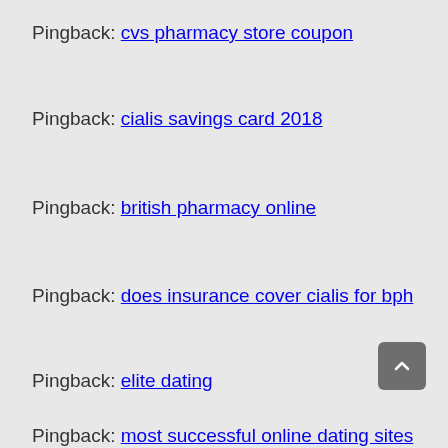Pingback: cvs pharmacy store coupon
Pingback: cialis savings card 2018
Pingback: british pharmacy online
Pingback: does insurance cover cialis for bph
Pingback: elite dating
Pingback: most successful online dating sites